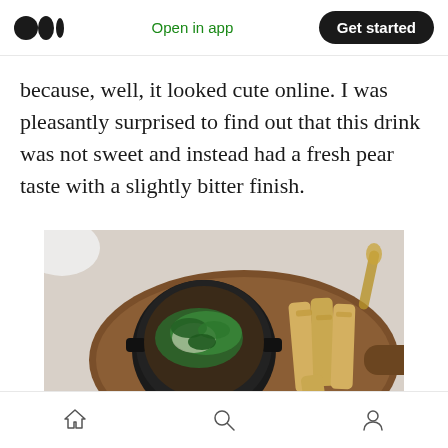Medium logo | Open in app | Get started
because, well, it looked cute online. I was pleasantly surprised to find out that this drink was not sweet and instead had a fresh pear taste with a slightly bitter finish.
[Figure (photo): Top-down photo of a black cast iron pot filled with a dish garnished with green herbs, served on a wooden cutting board alongside several fried breaded sticks, placed on a white table.]
Home | Search | Profile navigation icons